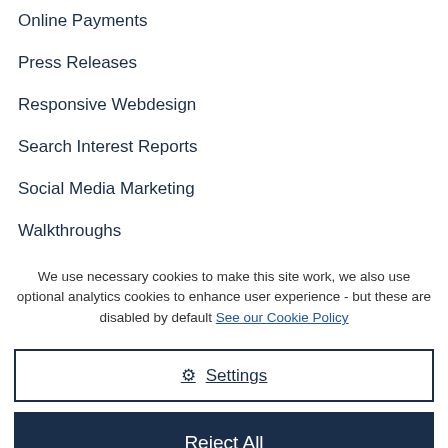Online Payments
Press Releases
Responsive Webdesign
Search Interest Reports
Social Media Marketing
Walkthroughs
We use necessary cookies to make this site work, we also use optional analytics cookies to enhance user experience - but these are disabled by default See our Cookie Policy
⚙ Settings
Reject All
Accept All